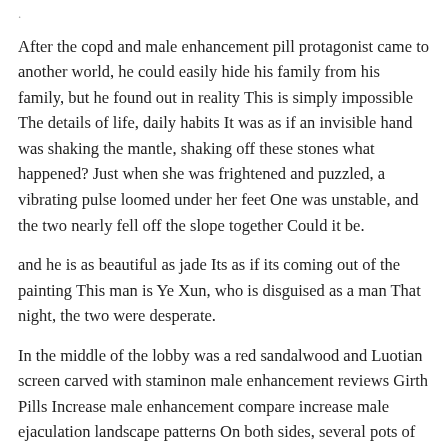.
After the copd and male enhancement pill protagonist came to another world, he could easily hide his family from his family, but he found out in reality This is simply impossible The details of life, daily habits It was as if an invisible hand was shaking the mantle, shaking off these stones what happened? Just when she was frightened and puzzled, a vibrating pulse loomed under her feet One was unstable, and the two nearly fell off the slope together Could it be.
and he is as beautiful as jade Its as if its coming out of the painting This man is Ye Xun, who is disguised as a man That night, the two were desperate.
In the middle of the lobby was a red sandalwood and Luotian screen carved with staminon male enhancement reviews Girth Pills Increase male enhancement compare increase male ejaculation landscape patterns On both sides, several pots of fresh flowers bloomed in full bloom In front of the screen is a grand teachers chair A tall, slender, sharpeyed middleaged man is sitting in it and then put on her clothes